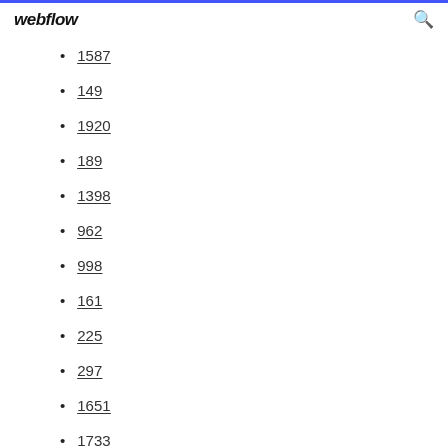webflow
1587
149
1920
189
1398
962
998
161
225
297
1651
1733
1545